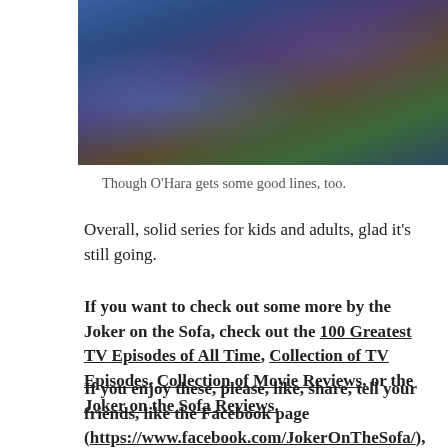[Figure (illustration): Animated scene showing cartoon characters in a fighting or action pose, with blue and purple tones, trees and buildings in the background.]
Though O’Hara gets some good lines, too.
Overall, solid series for kids and adults, glad it’s still going.
If you want to check out some more by the Joker on the Sofa, check out the 100 Greatest TV Episodes of All Time, Collection of TV Episodes, Collection of Movie Reviews, or the Joker on the Sofa Reviews.
If you enjoy these, please, like, share, tell your friends, like the Facebook page (https://www.facebook.com/JokerOnTheSofa/), follow on Twitter @JokerOnTheSofa, and just